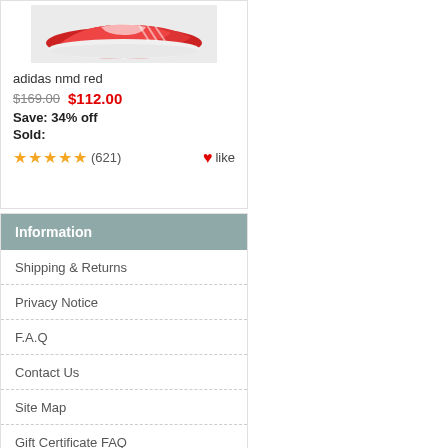[Figure (photo): Red Adidas NMD sneaker shoe product image on light gray background]
adidas nmd red
$169.00  $112.00
Save: 34% off
Sold:
★★★★★ (621)  ♥like
Information
Shipping & Returns
Privacy Notice
F.A.Q
Contact Us
Site Map
Gift Certificate FAQ
Discount Coupons
Newsletter Unsubscribe